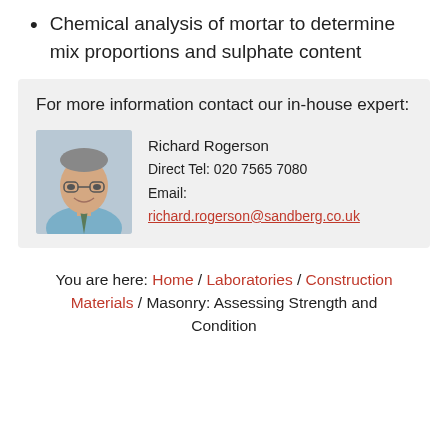Chemical analysis of mortar to determine mix proportions and sulphate content
For more information contact our in-house expert:
[Figure (photo): Headshot photo of Richard Rogerson, a middle-aged man in glasses and a tie, smiling]
Richard Rogerson
Direct Tel: 020 7565 7080
Email: richard.rogerson@sandberg.co.uk
You are here: Home / Laboratories / Construction Materials / Masonry: Assessing Strength and Condition